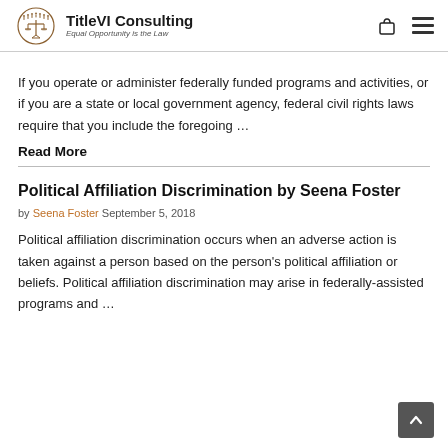TitleVI Consulting — Equal Opportunity is the Law
If you operate or administer federally funded programs and activities, or if you are a state or local government agency, federal civil rights laws require that you include the foregoing …
Read More
Political Affiliation Discrimination by Seena Foster
by Seena Foster September 5, 2018
Political affiliation discrimination occurs when an adverse action is taken against a person based on the person's political affiliation or beliefs. Political affiliation discrimination may arise in federally-assisted programs and …